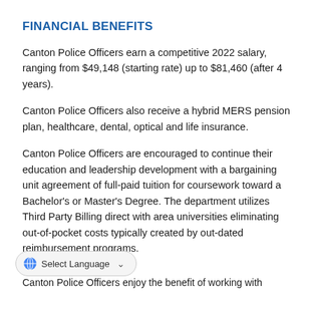FINANCIAL BENEFITS
Canton Police Officers earn a competitive 2022 salary, ranging from $49,148 (starting rate) up to $81,460 (after 4 years).
Canton Police Officers also receive a hybrid MERS pension plan, healthcare, dental, optical and life insurance.
Canton Police Officers are encouraged to continue their education and leadership development with a bargaining unit agreement of full-paid tuition for coursework toward a Bachelor's or Master's Degree. The department utilizes Third Party Billing direct with area universities eliminating out-of-pocket costs typically created by out-dated reimbursement programs.
TECHNOLOGY
Canton Police Officers enjoy the benefit of working with